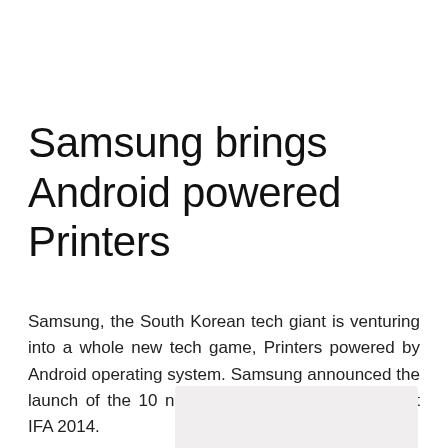Samsung brings Android powered Printers
Samsung, the South Korean tech giant is venturing into a whole new tech game, Printers powered by Android operating system. Samsung announced the launch of the 10 new Android powered printers at IFA 2014.
[Figure (photo): Partial image visible at bottom of page, light gray/beige background]